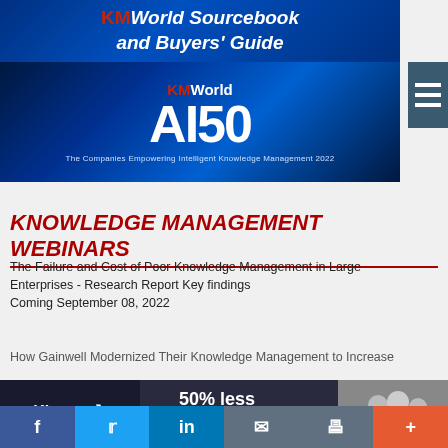[Figure (illustration): KMWorld Sourcebook and Buyers' Guide banner with blue digital network background]
[Figure (logo): KMWorld AI 50 banner – The Companies Empowering Intelligent Knowledge Management 2022, blue digital background]
KNOWLEDGE MANAGEMENT WEBINARS
The Failure and Cost of Poor Knowledge Management in Large Enterprises - Research Report Key findings
Coming September 08, 2022
How Gainwell Modernized Their Knowledge Management to Increase
[Figure (illustration): Khoros advertisement banner: 50% less agent attrition, dark background with group of people photo]
f  twitter  in  email  print  +